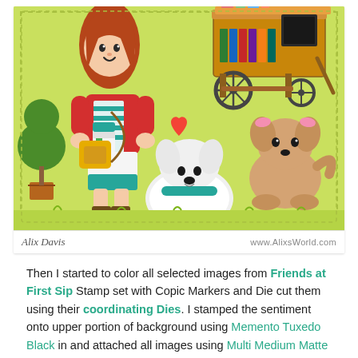[Figure (illustration): A hand-colored craft card scene showing a girl with red jacket holding a coffee cup, brown boots, teal skirt, a book cart in upper right, a white fluffy dog with teal collar in center bottom, a tan puppy with pink bows on right, a small red heart, and a potted topiary tree on the left, all on a lime-green background with dashed border. Watermark text: 'Alix Davis' on left and 'www.AlixsWorld.com' on right.]
Then I started to color all selected images from Friends at First Sip Stamp set with Copic Markers and Die cut them using their coordinating Dies. I stamped the sentiment onto upper portion of background using Memento Tuxedo Black in and attached all images using Multi Medium Matte and Foam